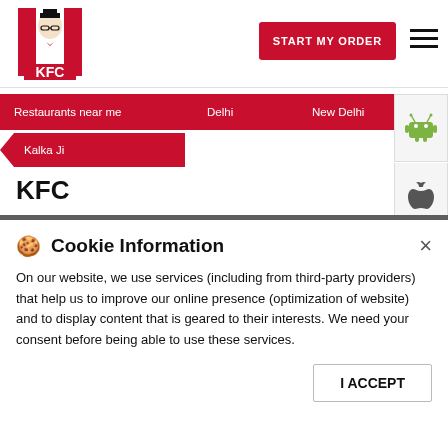[Figure (logo): KFC logo with Colonel Sanders and red stripes]
START MY ORDER
KFC website header with logo, Start My Order button, and hamburger menu
Restaurants near me
Delhi
New Delhi
Kalka Ji
KFC
KALKA JI
ADDRESS
No 4
Kalka Ji
New Delhi - 110019
STORE TIMING
Closed for the day
Delivery  Dine In  Takeaway
Cookie Information
On our website, we use services (including from third-party providers) that help us to improve our online presence (optimization of website) and to display content that is geared to their interests. We need your consent before being able to use these services.
I ACCEPT